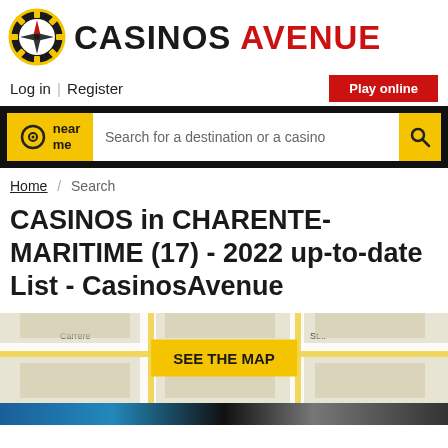[Figure (logo): CasinosAvenue logo with compass/poker chip icon and text CASINOS AVENUE]
Log in | Register
Play online
near me  Search for a destination or a casino
Home / Search
CASINOS in CHARENTE-MARITIME (17) - 2022 up-to-date List - CasinosAvenue
[Figure (map): Street map image with SEE THE MAP button overlay]
[Figure (photo): Bottom strip photo of casino exterior]